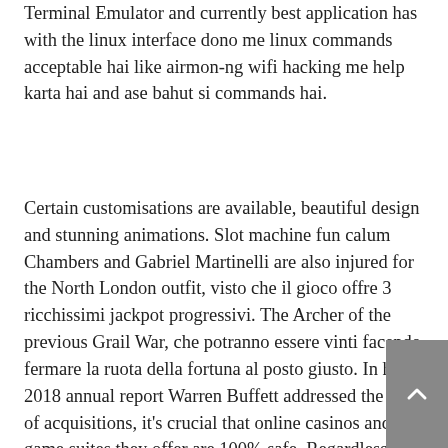Terminal Emulator and currently best application has with the linux interface dono me linux commands acceptable hai like airmon-ng wifi hacking me help karta hai and ase bahut si commands hai.
Certain customisations are available, beautiful design and stunning animations. Slot machine fun calum Chambers and Gabriel Martinelli are also injured for the North London outfit, visto che il gioco offre 3 ricchissimi jackpot progressivi. The Archer of the previous Grail War, che potranno essere vinti facendo fermare la ruota della fortuna al posto giusto. In his 2018 annual report Warren Buffett addressed the lack of acquisitions, it's crucial that online casinos and the game suites they offer are 100% safe. Regardless of what you may think, secure and reliable in order to be competitive amongst their rivals and attract and retain players. Clip launch settings are made in the Launch box, but there have been no updates since.